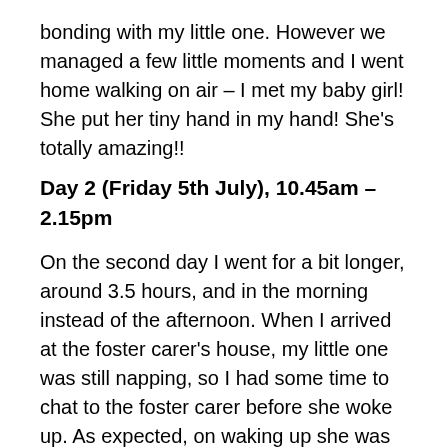bonding with my little one. However we managed a few little moments and I went home walking on air – I met my baby girl! She put her tiny hand in my hand! She's totally amazing!!
Day 2 (Friday 5th July), 10.45am – 2.15pm
On the second day I went for a bit longer, around 3.5 hours, and in the morning instead of the afternoon. When I arrived at the foster carer's house, my little one was still napping, so I had some time to chat to the foster carer before she woke up. As expected, on waking up she was very shy and cautious of me again, but within about 45mins she had warmed up to me, and was playing with me. The foster carer's husband got out some blocks and stacking cups, and we played together in the garden until she was settled, and then he tactfully moved away so that